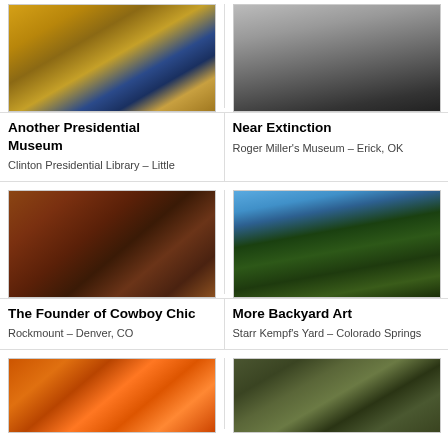[Figure (photo): Interior of Clinton Presidential Library - Oval Office replica with yellow curtains, American flag, desk]
Another Presidential Museum
Clinton Presidential Library – Little
[Figure (photo): Black and white portrait photo of a person in dark clothing with hands raised]
Near Extinction
Roger Miller's Museum – Erick, OK
[Figure (photo): Elderly man with glasses sitting in a restaurant booth]
The Founder of Cowboy Chic
Rockmount – Denver, CO
[Figure (photo): Backyard art installation with large star/snowflake sculptures among tall pine trees against blue sky]
More Backyard Art
Starr Kempf's Yard – Colorado Springs
[Figure (photo): Plate of fried food with a bowl of red dipping sauce]
[Figure (photo): Bronze sculpture of horses and riders, black and white or dark toned]